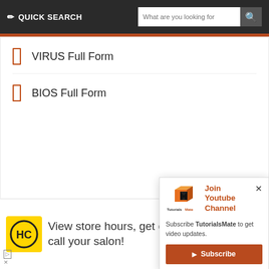QUICK SEARCH
VIRUS Full Form
BIOS Full Form
POPULAR
Basic Com...
[Figure (logo): TutorialsMate logo — orange 3D cube with 'M' monogram and TutorialsMate text]
Join Youtube Channel
Subscribe TutorialsMate to get video updates.
Subscribe
[Figure (infographic): Advertisement banner: HC logo (yellow background), text 'View store hours, get directions, or call your salon!', navigation map icon (blue diamond with arrow)]